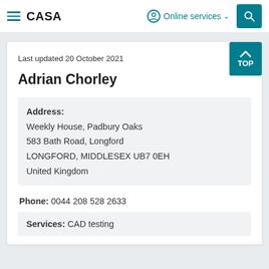CASA | Online services
Last updated 20 October 2021
Adrian Chorley
Address: Weekly House, Padbury Oaks 583 Bath Road, Longford LONGFORD, MIDDLESEX UB7 0EH United Kingdom
Phone: 0044 208 528 2633
Services: CAD testing